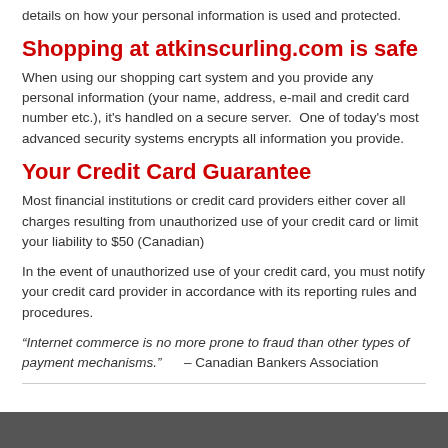details on how your personal information is used and protected.
Shopping at atkinscurling.com is safe
When using our shopping cart system and you provide any personal information (your name, address, e-mail and credit card number etc.), it's handled on a secure server.  One of today's most advanced security systems encrypts all information you provide.
Your Credit Card Guarantee
Most financial institutions or credit card providers either cover all charges resulting from unauthorized use of your credit card or limit your liability to $50 (Canadian)
In the event of unauthorized use of your credit card, you must notify your credit card provider in accordance with its reporting rules and procedures.
“Internet commerce is no more prone to fraud than other types of payment mechanisms.”      – Canadian Bankers Association